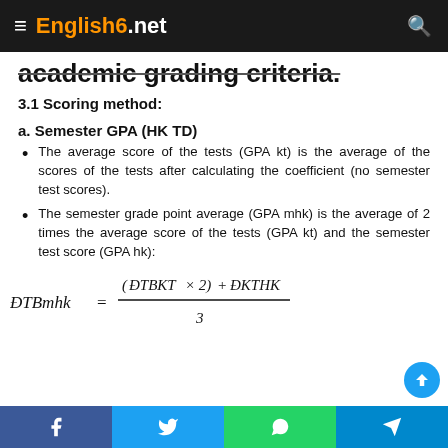English6.net
academic grading criteria.
3.1 Scoring method:
a. Semester GPA (HK TD)
The average score of the tests (GPA kt) is the average of the scores of the tests after calculating the coefficient (no semester test scores).
The semester grade point average (GPA mhk) is the average of 2 times the average score of the tests (GPA kt) and the semester test score (GPA hk):